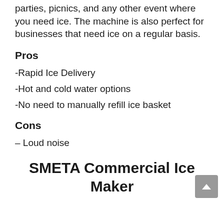parties, picnics, and any other event where you need ice. The machine is also perfect for businesses that need ice on a regular basis.
Pros
-Rapid Ice Delivery
-Hot and cold water options
-No need to manually refill ice basket
Cons
– Loud noise
SMETA Commercial Ice Maker